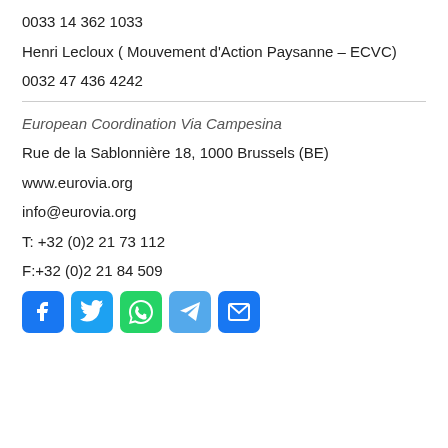0033 14 362 1033
Henri Lecloux ( Mouvement d'Action Paysanne – ECVC)
0032 47 436 4242
European Coordination Via Campesina
Rue de la Sablonnière 18, 1000 Brussels (BE)
www.eurovia.org
info@eurovia.org
T: +32 (0)2 21 73 112
F:+32 (0)2 21 84 509
[Figure (infographic): Row of social media icons: Facebook (blue), Twitter (light blue), WhatsApp (green), Telegram (light blue), Email (blue)]